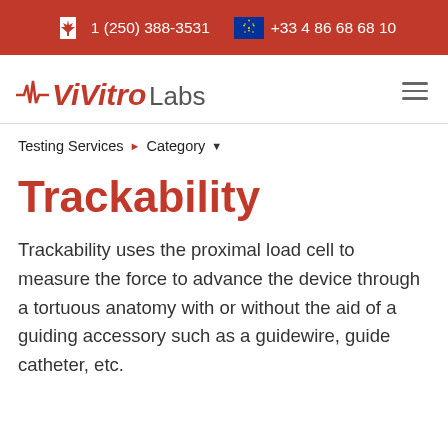1 (250) 388-3531   +33 4 86 68 68 10
[Figure (logo): ViVitro Labs logo with red EKG-style waveform and red italic text]
Testing Services ▶ Category ▼
Trackability
Trackability uses the proximal load cell to measure the force to advance the device through a tortuous anatomy with or without the aid of a guiding accessory such as a guidewire, guide catheter, etc.